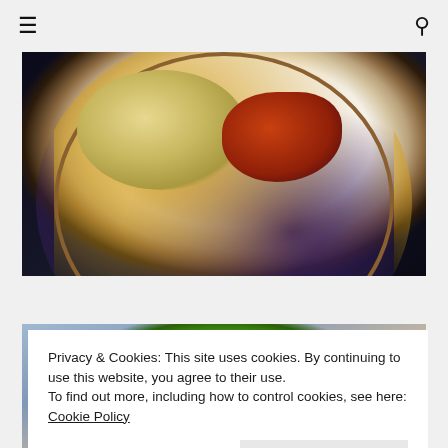≡  🔍
[Figure (photo): Top-down view of a decorative plate with pasta noodles and tomato sauce on a dark background]
[Figure (photo): Top-down view of a green plate with food on a patterned tablecloth]
Privacy & Cookies: This site uses cookies. By continuing to use this website, you agree to their use.
To find out more, including how to control cookies, see here: Cookie Policy
Close and accept